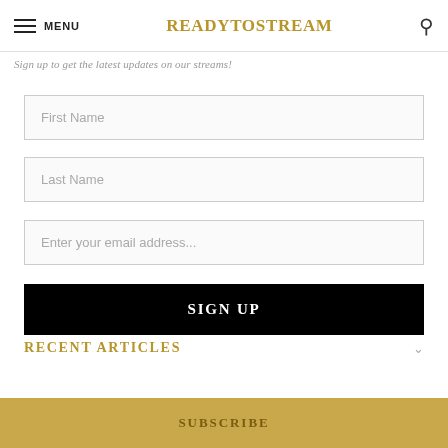MENU  READYTOSTREAM
Sign up to get the latest updates on our streams!
First Name
Last Name
Enter your email address...
SIGN UP
RECENT ARTICLES
SUBSCRIBE